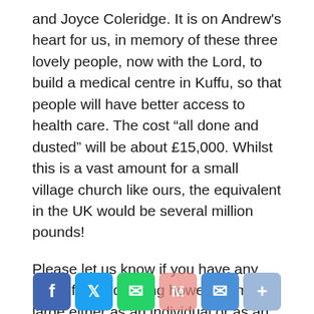and Joyce Coleridge. It is on Andrew's heart for us, in memory of these three lovely people, now with the Lord, to build a medical centre in Kuffu, so that people will have better access to health care. The cost “all done and dusted” will be about £15,000. Whilst this is a vast amount for a small village church like ours, the equivalent in the UK would be several million pounds!
Please let us know if you have any ideas for fundraising however small or large either as an individual or as an event. Be creative with your ideas and Pray for Kuffu, pray that the Lord will bless our efforts.
On Sunday the 24th February we held a cake for Kuffu event after Church and £149.00 was raised thank you for all of you who donated (hopefully our trouser and skirts still fit as there was much cake and it was all very nice).